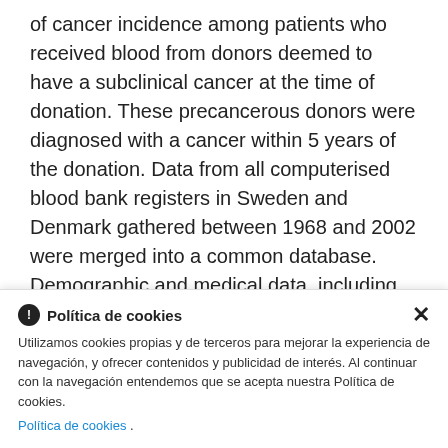of cancer incidence among patients who received blood from donors deemed to have a subclinical cancer at the time of donation. These precancerous donors were diagnosed with a cancer within 5 years of the donation. Data from all computerised blood bank registers in Sweden and Denmark gathered between 1968 and 2002 were merged into a common database. Demographic and medical data, including mortality and cancer incidence, were ascertained through linkages with nationwide, and essentially complete, population and health-care registers. The risk of cancer in exposed recipients
Política de cookies
Utilizamos cookies propias y de terceros para mejorar la experiencia de navegación, y ofrecer contenidos y publicidad de interés. Al continuar con la navegación entendemos que se acepta nuestra Política de cookies.
Política de cookies .